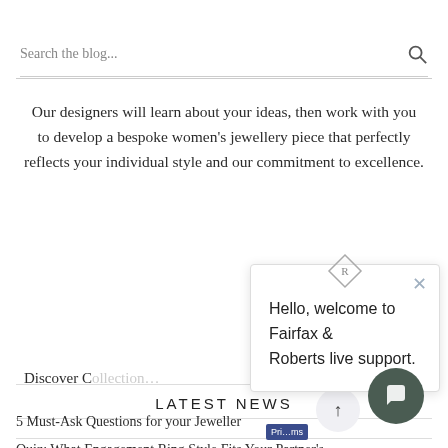Search the blog...
Our designers will learn about your ideas, then work with you to develop a bespoke women's jewellery piece that perfectly reflects your individual style and our commitment to excellence.
Hello, welcome to Fairfax & Roberts live support.
Discover C...
LATEST NEWS
5 Must-Ask Questions for your Jeweller
Quiz: What Engagement Ring Style Fits Your Partner's